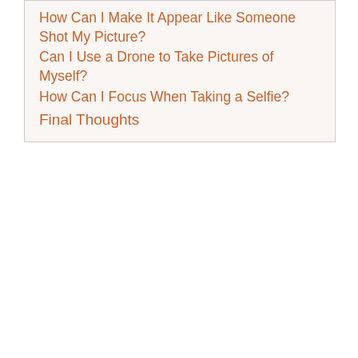How Can I Make It Appear Like Someone Shot My Picture?
Can I Use a Drone to Take Pictures of Myself?
How Can I Focus When Taking a Selfie?
Final Thoughts